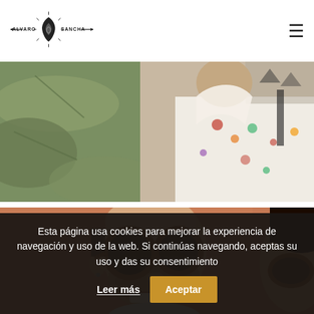[Figure (logo): Alvaro Sancha logo with shell graphic and decorative lines, text reads ALVARO SANCHA]
[Figure (photo): Close-up photo of two people, one wearing a colorful floral/patterned short-sleeve shirt, tropical green leaf background visible on left]
[Figure (photo): Close-up photo of a laughing man with a beard wearing round tortoiseshell sunglasses, another person with sunglasses visible on the right, orange/terracotta wall background]
Esta página usa cookies para mejorar la experiencia de navegación y uso de la web. Si continúas navegando, aceptas su uso y das su consentimiento
Leer más
Aceptar